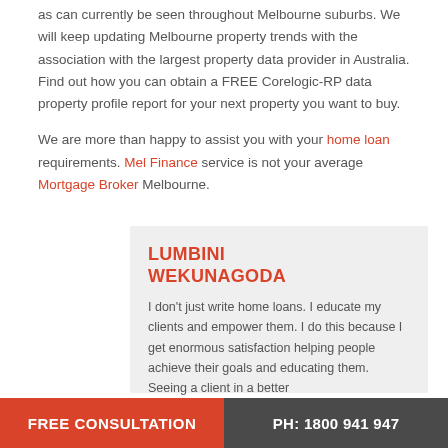as can currently be seen throughout Melbourne suburbs. We will keep updating Melbourne property trends with the association with the largest property data provider in Australia. Find out how you can obtain a FREE Corelogic-RP data property profile report for your next property you want to buy.
We are more than happy to assist you with your home loan requirements. Mel Finance service is not your average Mortgage Broker Melbourne.
LUMBINI WEKUNAGODA
I don't just write home loans. I educate my clients and empower them. I do this because I get enormous satisfaction helping people achieve their goals and educating them. Seeing a client in a better...
FREE CONSULTATION   PH: 1800 941 947